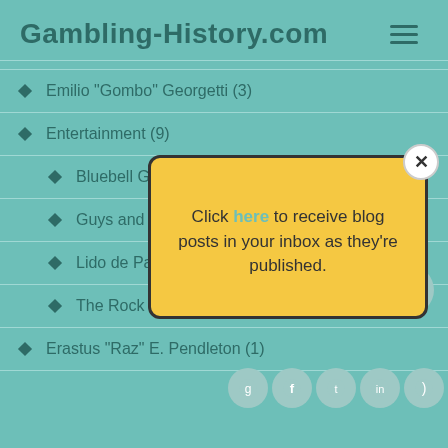Gambling-History.com
Emilio "Gombo" Georgetti (3)
Entertainment (9)
Bluebell Girls (2)
Guys and Dolls
Lido de Paris (1)
The Rock Islanders (1)
Erastus "Raz" E. Pendleton (1)
[Figure (screenshot): Popup overlay with yellow background: 'Click here to receive blog posts in your inbox as they're published.' with a close button (X) in top right corner.]